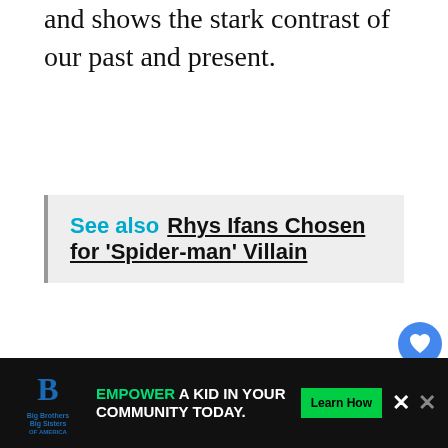and shows the stark contrast of our past and present.
See also  Rhys Ifans Chosen for ‘Spider-man’ Villain
The film stars Janelle Monáe, Jena Malone, Eric Lange, Jack Huston, Gabourey Sidibe, and Kiersey Clemons. It did not sit very well with critics; however, audience members w more forgiving. It had a budget of $10 millio a
[Figure (infographic): Advertisement banner: Big Brothers Big Sisters logo on left, text 'EMPOWER A KID IN YOUR COMMUNITY TODAY.' with Learn How button, close X button]